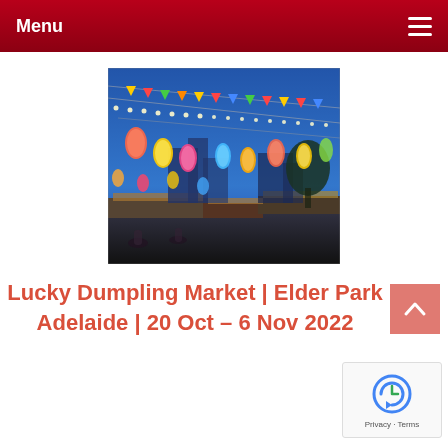Menu
[Figure (photo): Night market scene with colourful hanging lanterns and triangle bunting flags strung across poles, market stalls and city buildings visible in background under a blue evening sky.]
Lucky Dumpling Market | Elder Park Adelaide | 20 Oct – 6 Nov 2022